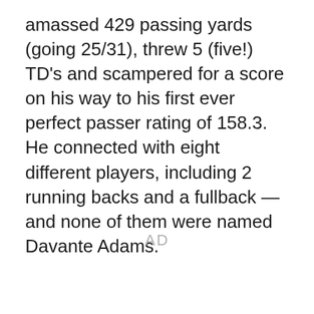amassed 429 passing yards (going 25/31), threw 5 (five!) TD's and scampered for a score on his way to his first ever perfect passer rating of 158.3. He connected with eight different players, including 2 running backs and a fullback — and none of them were named Davante Adams.
AD